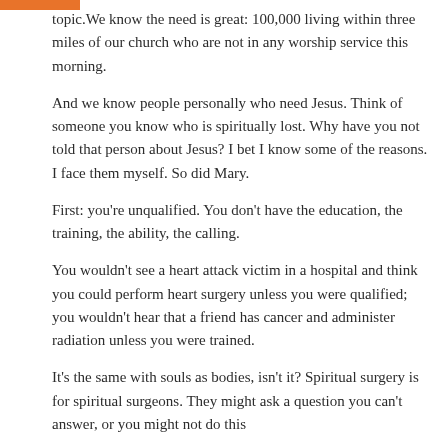topic. We know the need is great: 100,000 living within three miles of our church who are not in any worship service this morning.
And we know people personally who need Jesus. Think of someone you know who is spiritually lost. Why have you not told that person about Jesus? I bet I know some of the reasons. I face them myself. So did Mary.
First: you're unqualified. You don't have the education, the training, the ability, the calling.
You wouldn't see a heart attack victim in a hospital and think you could perform heart surgery unless you were qualified; you wouldn't hear that a friend has cancer and administer radiation unless you were trained.
It's the same with souls as bodies, isn't it? Spiritual surgery is for spiritual surgeons. They might ask a question you can't answer, or you might not do this